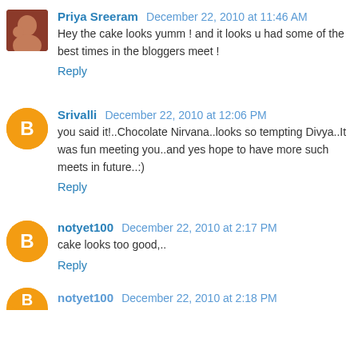Priya Sreeram December 22, 2010 at 11:46 AM
Hey the cake looks yumm ! and it looks u had some of the best times in the bloggers meet !
Reply
Srivalli December 22, 2010 at 12:06 PM
you said it!..Chocolate Nirvana..looks so tempting Divya..It was fun meeting you..and yes hope to have more such meets in future..:)
Reply
notyet100 December 22, 2010 at 2:17 PM
cake looks too good,..
Reply
notyet100 December 22, 2010 at 2:18 PM